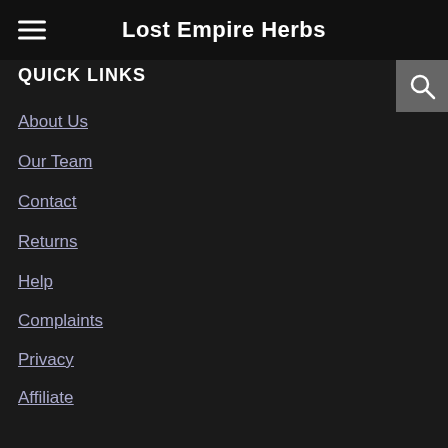Lost Empire Herbs
QUICK LINKS
About Us
Our Team
Contact
Returns
Help
Complaints
Privacy
Affiliate
Wholesale
Terms of Use
Careers